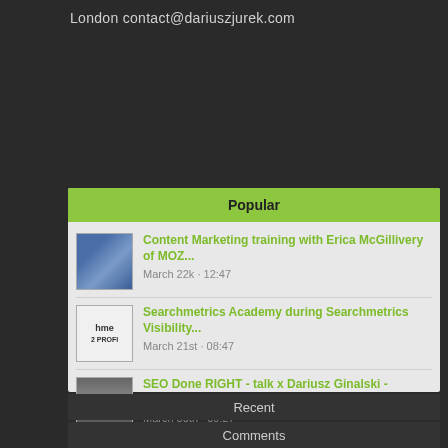London contact@dariuszjurek.com
Popular
Content Marketing training with Erica McGillivery of MOZ... March 22k · 12:47
Searchmetrics Academy during Searchmetrics Visibility... March 21st · 08:47
SEO Done RIGHT - talk x Dariusz Ginalski - Training... March 30th · 09:27
Recent
Comments